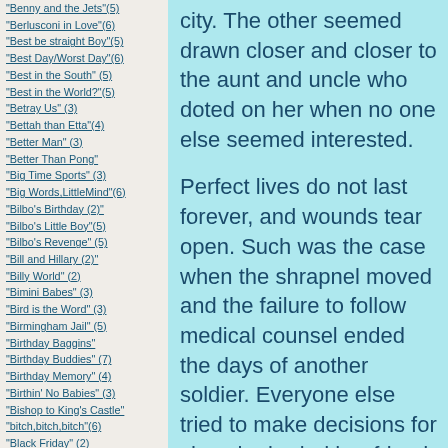"Benny and the Jets"(5)
"Berlusconi in Love"(6)
"Best be straight Boy"(5)
"Best Day/Worst Day"(6)
"Best in the South" (5)
"Best in the World?"(5)
"Betray Us" (3)
"Bettah than Etta"(4)
"Better Man" (3)
"Better Than Pong"
"Big Time Sports" (3)
"Big Words,LittleMind"(6)
"Bilbo's Birthday (2)"
"Bilbo's Little Boy"(5)
"Bilbo's Revenge" (5)
"Bill and Hillary (2)"
"Billy World" (2)
"Bimini Babes" (3)
"Bird is the Word" (3)
"Birmingham Jail" (5)
"Birthday Baggins"
"Birthday Buddies" (7)
"Birthday Memory" (4)
"Birthin' No Babies" (3)
"Bishop to King's Castle"
"bitch,bitch,bitch"(6)
"Black Friday" (2)
city.  The other seemed drawn closer and closer to the aunt and uncle who doted on her when no one else seemed interested.

Perfect lives do not last forever, and wounds tear open.  Such was the case when the shrapnel moved and the failure to follow medical counsel ended the days of another soldier.  Everyone else tried to make decisions for she who buried her friend and companion.  Resentment and surprise caught all of those who felt that she should now return home, so that they could "take care of her."  It was her decision to stay in the